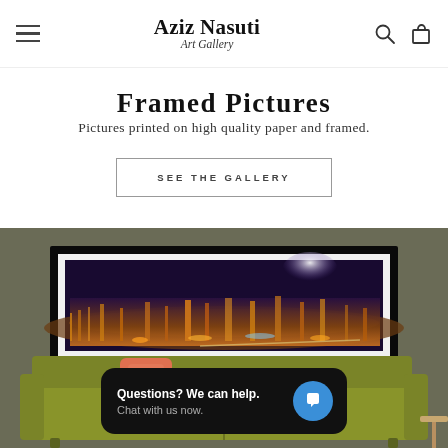Aziz Nasuti Art Gallery
Framed Pictures
Pictures printed on high quality paper and framed.
SEE THE GALLERY
[Figure (photo): Framed panoramic cityscape night photo hanging on a dark olive-green wall above a green sofa with an orange pillow. A chat widget reads 'Questions? We can help. Chat with us now.']